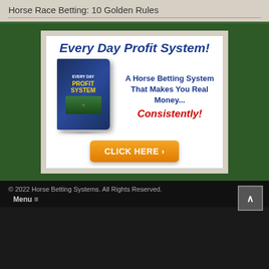Horse Race Betting: 10 Golden Rules
[Figure (illustration): Advertisement banner for 'Every Day Profit System' - A Horse Betting System That Makes You Real Money... Consistently! with a book cover image and orange CLICK HERE button]
© 2022 Horse Betting Systems. All Rights Reserved.
Menu
Menu